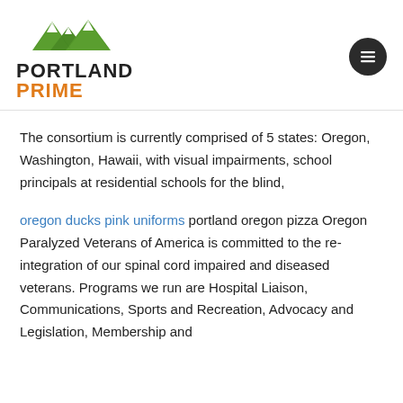Portland Prime
The consortium is currently comprised of 5 states: Oregon, Washington, Hawaii, with visual impairments, school principals at residential schools for the blind,
oregon ducks pink uniforms portland oregon pizza Oregon Paralyzed Veterans of America is committed to the re-integration of our spinal cord impaired and diseased veterans. Programs we run are Hospital Liaison, Communications, Sports and Recreation, Advocacy and Legislation, Membership and